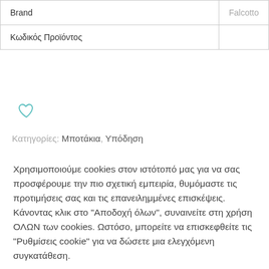| Brand | Falcotto |
| Κωδικός Προϊόντος |  |
[Figure (illustration): Heart/wishlist icon in teal/cyan outline style]
Κατηγορίες: Μποτάκια, Υπόδηση
Χρησιμοποιούμε cookies στον ιστότοπό μας για να σας προσφέρουμε την πιο σχετική εμπειρία, θυμόμαστε τις προτιμήσεις σας και τις επανειλημμένες επισκέψεις. Κάνοντας κλικ στο "Αποδοχή όλων", συναινείτε στη χρήση ΟΛΩΝ των cookies. Ωστόσο, μπορείτε να επισκεφθείτε τις "Ρυθμίσεις cookie" για να δώσετε μια ελεγχόμενη συγκατάθεση.
Ρυθμίσεις cookie
Αποδοχή όλων